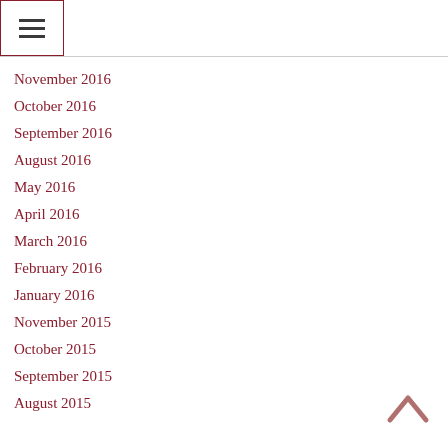≡
November 2016
October 2016
September 2016
August 2016
May 2016
April 2016
March 2016
February 2016
January 2016
November 2015
October 2015
September 2015
August 2015